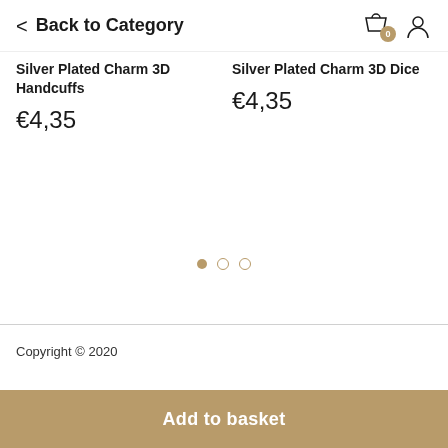< Back to Category
Silver Plated Charm 3D Handcuffs
€4,35
Silver Plated Charm 3D Dice
€4,35
Copyright © 2020
Add to basket